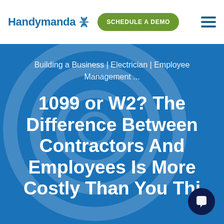Handymanda [logo] | SCHEDULE A DEMO | [hamburger menu]
Building a Business | Electrician | Employee Management ...
1099 or W2? The Difference Between Contractors And Employees Is More Costly Than You Thi